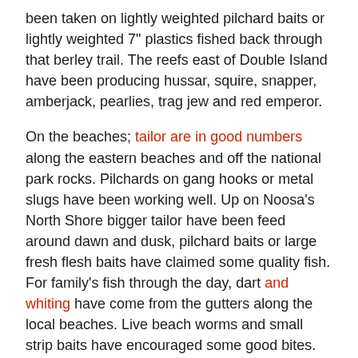been taken on lightly weighted pilchard baits or lightly weighted 7" plastics fished back through that berley trail. The reefs east of Double Island have been producing hussar, squire, snapper, amberjack, pearlies, trag jew and red emperor.
On the beaches; tailor are in good numbers along the eastern beaches and off the national park rocks. Pilchards on gang hooks or metal slugs have been working well. Up on Noosa's North Shore bigger tailor have been feed around dawn and dusk, pilchard baits or large fresh flesh baits have claimed some quality fish. For family's fish through the day, dart and whiting have come from the gutters along the local beaches. Live beach worms and small strip baits have encouraged some good bites.
In the freshwater; trolling the main basin of Lake McDonald has accounted for good numbers of bass and yellowbelly. Small profile hardbodies like the Ecogear SX60 have been doing the trick. Blades and tail spinners fished through the schools in the main basin has also been effective. Up at Lake Borumba Anglers have been having a ball on the bass. They are schooling up again in the main basin of the dam so a sounder is vital to find the fish. Blades, tail spinners, soft